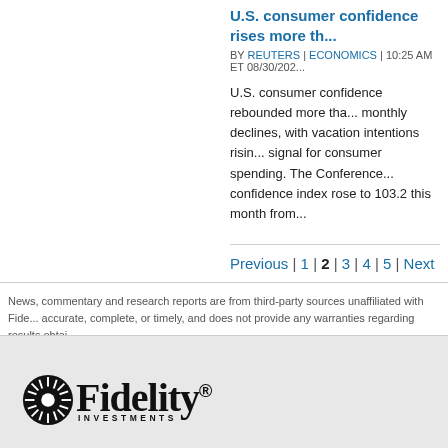U.S. consumer confidence rises more th...
BY REUTERS | ECONOMICS | 10:25 AM ET 08/30/202...
U.S. consumer confidence rebounded more tha... monthly declines, with vacation intentions risin... signal for consumer spending. The Conference... confidence index rose to 103.2 this month from...
Previous | 1 | 2 | 3 | 4 | 5 | Next
News, commentary and research reports are from third-party sources unaffiliated with Fide... accurate, complete, or timely, and does not provide any warranties regarding results obtai... PDF's require Adobe® Reader® and will open in a new window.
[Figure (logo): Fidelity Investments logo with sunburst icon and bold serif wordmark]